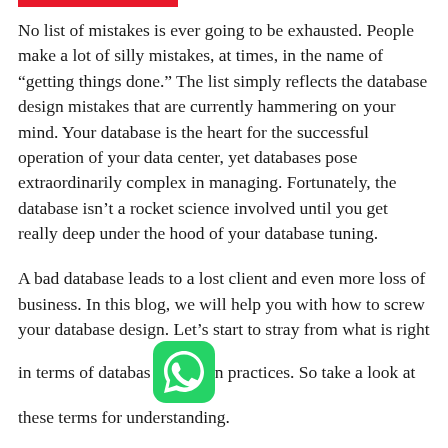[Figure (other): Red horizontal bar/accent line at top left]
No list of mistakes is ever going to be exhausted. People make a lot of silly mistakes, at times, in the name of “getting things done.” The list simply reflects the database design mistakes that are currently hammering on your mind. Your database is the heart for the successful operation of your data center, yet databases pose extraordinarily complex in managing. Fortunately, the database isn’t a rocket science involved until you get really deep under the hood of your database tuning.
A bad database leads to a lost client and even more loss of business. In this blog, we will help you with how to screw your database design. Let’s start to stray from what is right in terms of database design practices. So take a look at these terms for understanding.